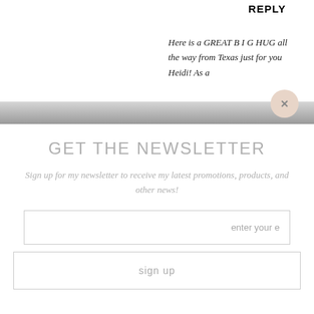REPLY
Here is a GREAT B I G HUG all the way from Texas just for you Heidi! As a
GET THE NEWSLETTER
Sign up for my newsletter to receive my latest promotions, products, and other news!
enter your e
sign up